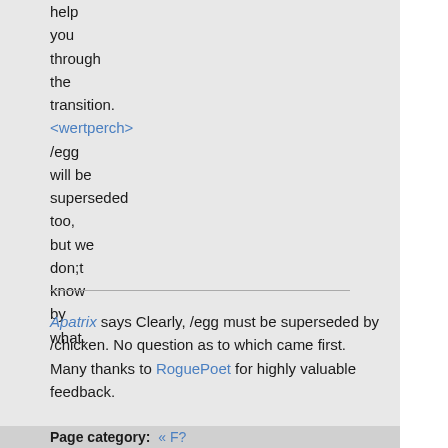help you through the transition. <wertperch> /egg will be superseded too, but we don;t know by what.
Apatrix says Clearly, /egg must be superseded by /chicken. No question as to which came first. Many thanks to RoguePoet for highly valuable feedback.
Page category: « F?